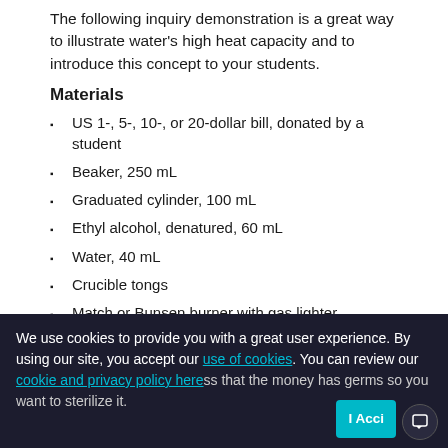The following inquiry demonstration is a great way to illustrate water's high heat capacity and to introduce this concept to your students.
Materials
US 1-, 5-, 10-, or 20-dollar bill, donated by a student
Beaker, 250 mL
Graduated cylinder, 100 mL
Ethyl alcohol, denatured, 60 mL
Water, 40 mL
Crucible tongs
Match or Bunsen burner with gas lighter
Procedure
We use cookies to provide you with a great user experience. By using our site, you accept our use of cookies. You can review our cookie and privacy policy here ss that the money has germs so you want to sterilize it.